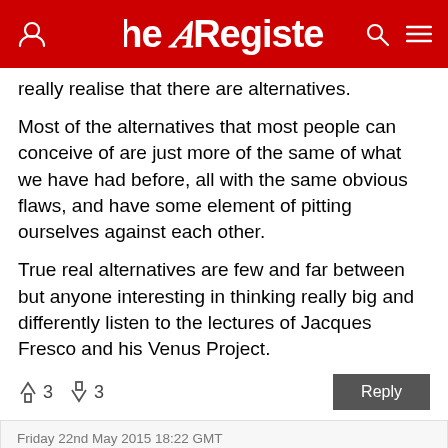The Register
really realise that there are alternatives.
Most of the alternatives that most people can conceive of are just more of the same of what we have had before, all with the same obvious flaws, and have some element of pitting ourselves against each other.
True real alternatives are few and far between but anyone interesting in thinking really big and differently listen to the lectures of Jacques Fresco and his Venus Project.
↑3  ↓3   Reply
Friday 22nd May 2015 18:22 GMT
Anonymous Coward
Report abuse
we've tried that
Jesus, Mohammed, Hitler and Lenin all had